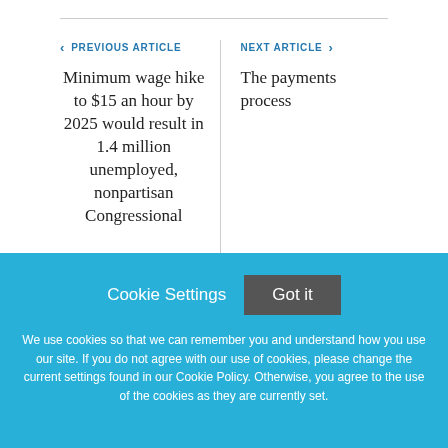< PREVIOUS ARTICLE
Minimum wage hike to $15 an hour by 2025 would result in 1.4 million unemployed, nonpartisan Congressional
NEXT ARTICLE >
The payments process
Cookie Settings
Got it
We use cookies so that we can remember you and understand how you use our site. If you do not agree with our use of cookies, please change the current settings found in our Cookie Policy. Otherwise, you agree to the use of the cookies as they are currently set.